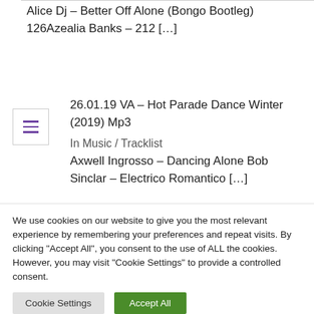Alice Dj – Better Off Alone (Bongo Bootleg) 126Azealia Banks – 212 […]
26.01.19 VA – Hot Parade Dance Winter (2019) Mp3
In Music / Tracklist
Axwell Ingrosso – Dancing Alone Bob Sinclar – Electrico Romantico […]
VA – Remixes [PL0394] exclusive tracks – [10-Feb-
We use cookies on our website to give you the most relevant experience by remembering your preferences and repeat visits. By clicking "Accept All", you consent to the use of ALL the cookies. However, you may visit "Cookie Settings" to provide a controlled consent.